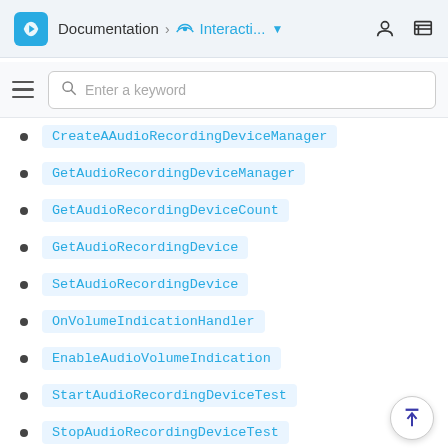Documentation > Interacti...
CreateAAudioRecordingDeviceManager
GetAudioRecordingDeviceManager
GetAudioRecordingDeviceCount
GetAudioRecordingDevice
SetAudioRecordingDevice
OnVolumeIndicationHandler
EnableAudioVolumeIndication
StartAudioRecordingDeviceTest
StopAudioRecordingDeviceTest